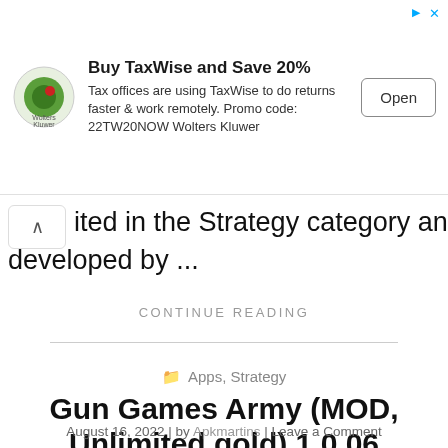[Figure (screenshot): Advertisement banner for TaxWise: Wolters Kluwer logo on left, bold headline 'Buy TaxWise and Save 20%', body text 'Tax offices are using TaxWise to do returns faster & work remotely. Promo code: 22TW20NOW Wolters Kluwer', and 'Open' button on the right. Small play/ad icon top-right with close X.]
ited in the Strategy category and was mod developed by ...
CONTINUE READING
Apps, Strategy
Gun Games Army (MOD, Unlimited gold) 1.0.06
August 16, 2022 | by Apkmartins | Leave a Comment